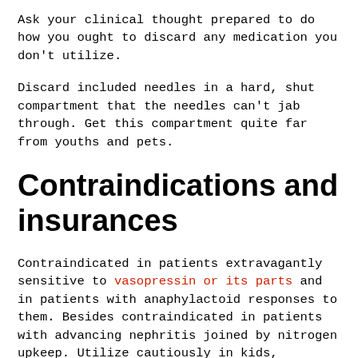Ask your clinical thought prepared to do how you ought to discard any medication you don't utilize.
Discard included needles in a hard, shut compartment that the needles can't jab through. Get this compartment quite far from youths and pets.
Contraindications and insurances
Contraindicated in patients extravagantly sensitive to vasopressin or its parts and in patients with anaphylactoid responses to them. Besides contraindicated in patients with advancing nephritis joined by nitrogen upkeep. Utilize cautiously in kids, pregnant ladies, more settled patients, preoperative or postoperative patients who are polyuric, and